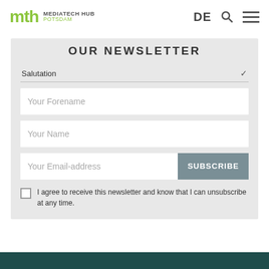mth MEDIATECH HUB POTSDAM | DE [search] [menu]
OUR NEWSLETTER
Salutation
Your Forename
Your Name
Your Email-address
SUBSCRIBE
I agree to receive this newsletter and know that I can unsubscribe at any time.